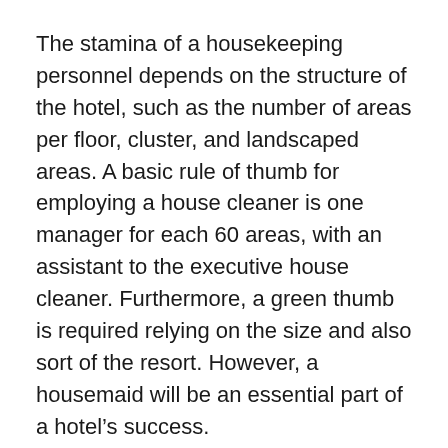The stamina of a housekeeping personnel depends on the structure of the hotel, such as the number of areas per floor, cluster, and landscaped areas. A basic rule of thumb for employing a house cleaner is one manager for each 60 areas, with an assistant to the executive house cleaner. Furthermore, a green thumb is required relying on the size and also sort of the resort. However, a housemaid will be an essential part of a hotel’s success.
A maid can have numerous advantages. Not only will your residence be cleaner, it will certainly likewise boost your wellness. It’s bad to entertain guests in an unclean residence due to the fact that it can nurture